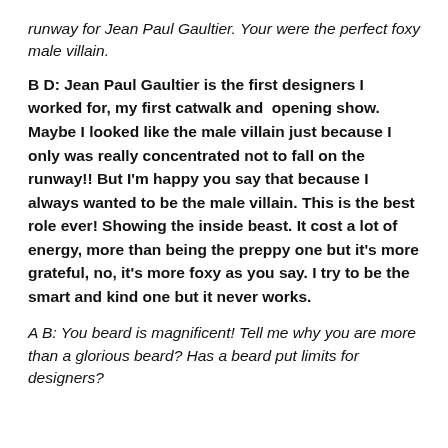runway for Jean Paul Gaultier. Your were the perfect foxy male villain.
B D: Jean Paul Gaultier is the first designers I worked for, my first catwalk and opening show. Maybe I looked like the male villain just because I only was really concentrated not to fall on the runway!! But I'm happy you say that because I always wanted to be the male villain. This is the best role ever! Showing the inside beast. It cost a lot of energy, more than being the preppy one but it's more grateful, no, it's more foxy as you say. I try to be the smart and kind one but it never works.
A B: You beard is magnificent! Tell me why you are more than a glorious beard? Has a beard put limits for designers?